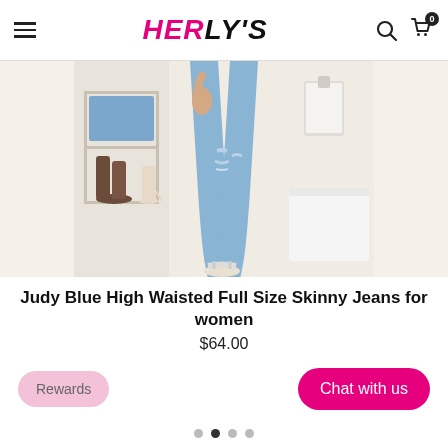HERLY'S
[Figure (photo): Model wearing light blue high waisted ripped skinny jeans with white sandals, photographed from waist down in a bright boutique setting]
Judy Blue High Waisted Full Size Skinny Jeans for women
$64.00
Rewards
Chat with us